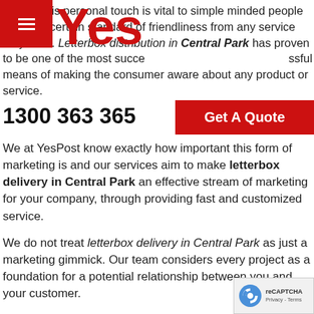[Figure (logo): Red hamburger menu icon on red background, top left navigation bar]
[Figure (logo): YesPost 'Yes' logo in large red bold text]
Adding this personal touch is vital to simple minded people expect a certain standard of friendliness from any service they avail. Letterbox distribution in Central Park has proven to be one of the most successful means of making the consumer aware about any product or service.
1300 363 365
Get A Quote
We at YesPost know exactly how important this form of marketing is and our services aim to make letterbox delivery in Central Park an effective stream of marketing for your company, through providing fast and customized service.
We do not treat letterbox delivery in Central Park as just a marketing gimmick. Our team considers every project as a foundation for a potential relationship between you and your customer.
Our intention is to uphold your vision by informing your customers about you through properly planned distribution services. Our motto of sincerity is backed by our efficient work ethic which makes us the best choice for your company's letterbox drops in Central Park.
[Figure (logo): Google reCAPTCHA badge, bottom right corner, with reCAPTCHA icon and Privacy - Terms text]